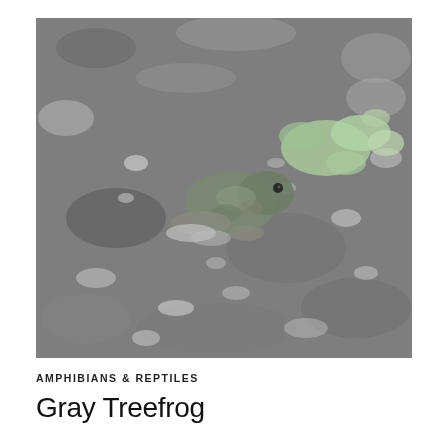[Figure (photo): Close-up photograph of a Gray Treefrog camouflaged on a rough granite rock surface covered with lichen. The frog blends nearly perfectly with the gray, mottled rock texture. Pale green lichen patches are visible around and on the frog.]
AMPHIBIANS & REPTILES
Gray Treefrog